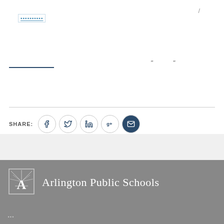Navigation breadcrumb link /
" "
[Figure (infographic): Social share bar with Facebook, Twitter, LinkedIn, Google+, and Email icons]
[Figure (logo): Arlington Public Schools logo with stylized letter A and rays]
Arlington Public Schools